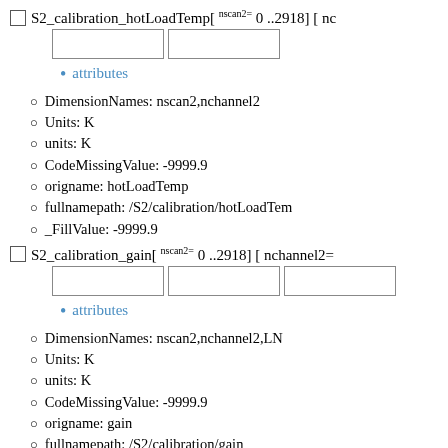S2_calibration_hotLoadTemp[ nscan2= 0 ..2918] [ nc...
[Figure (other): Two empty input boxes for dimension ranges of S2_calibration_hotLoadTemp]
attributes
DimensionNames: nscan2,nchannel2
Units: K
units: K
CodeMissingValue: -9999.9
origname: hotLoadTemp
fullnamepath: /S2/calibration/hotLoadTem...
_FillValue: -9999.9
S2_calibration_gain[ nscan2= 0 ..2918] [ nchannel2=...
[Figure (other): Three empty input boxes for dimension ranges of S2_calibration_gain]
attributes
DimensionNames: nscan2,nchannel2,LN...
Units: K
units: K
CodeMissingValue: -9999.9
origname: gain
fullnamepath: /S2/calibration/gain
_FillValue: -9999.9